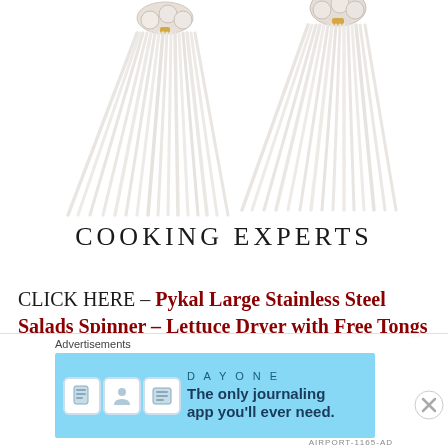[Figure (photo): Two white tassel fan-shaped earrings with pearl/bead tops against a white background, cropped at top of page]
COOKING EXPERTS
CLICK HERE – Pykal Large Stainless Steel Salads Spinner – Lettuce Dryer with Free Tongs
Advertisements
[Figure (screenshot): Dark/black advertisement banner, partially visible]
Advertisements
[Figure (screenshot): DAY ONE journaling app advertisement: light blue background with icon illustrations and text 'The only journaling app you'll ever need.']